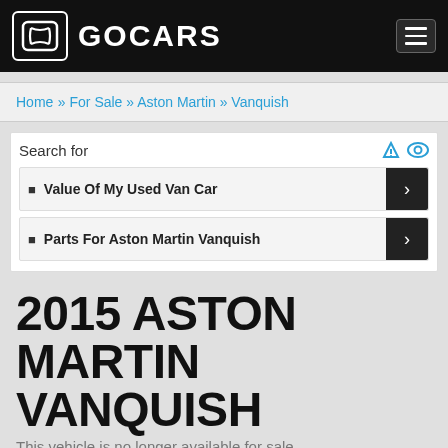GOCARS
Home » For Sale » Aston Martin » Vanquish
Search for
Value Of My Used Van Car
Parts For Aston Martin Vanquish
2015 ASTON MARTIN VANQUISH
This vehicle is no longer available for sale
$155,000
Canadian Dollar (CAD)